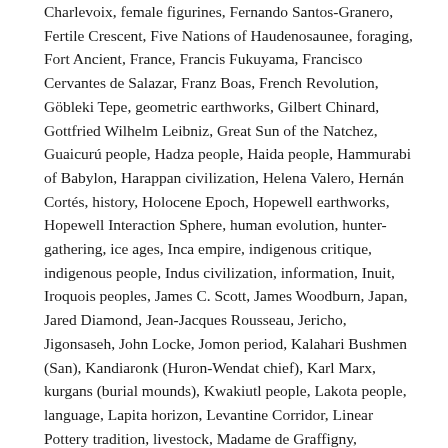Charlevoix, female figurines, Fernando Santos-Granero, Fertile Crescent, Five Nations of Haudenosaunee, foraging, Fort Ancient, France, Francis Fukuyama, Francisco Cervantes de Salazar, Franz Boas, French Revolution, Göbleki Tepe, geometric earthworks, Gilbert Chinard, Gottfried Wilhelm Leibniz, Great Sun of the Natchez, Guaicurú people, Hadza people, Haida people, Hammurabi of Babylon, Harappan civilization, Helena Valero, Hernán Cortés, history, Holocene Epoch, Hopewell earthworks, Hopewell Interaction Sphere, human evolution, hunter-gathering, ice ages, Inca empire, indigenous critique, indigenous people, Indus civilization, information, Inuit, Iroquois peoples, James C. Scott, James Woodburn, Japan, Jared Diamond, Jean-Jacques Rousseau, Jericho, Jigonsaseh, John Locke, Jomon period, Kalahari Bushmen (San), Kandiaronk (Huron-Wendat chief), Karl Marx, kurgans (burial mounds), Kwakiutl people, Lakota people, language, Lapita horizon, Levantine Corridor, Linear Pottery tradition, livestock, Madame de Graffigny, Maidenetske (mega-site), Marcel Mauss, Marija Gimbutas, Marshall Sahlins,